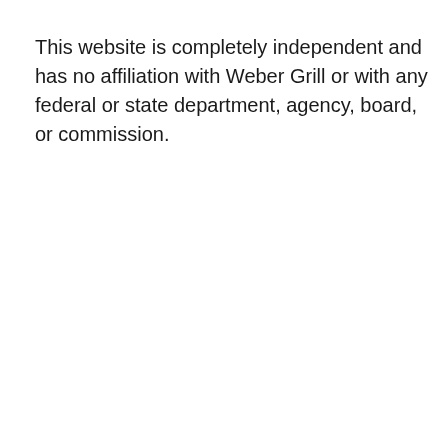This website is completely independent and has no affiliation with Weber Grill or with any federal or state department, agency, board, or commission.